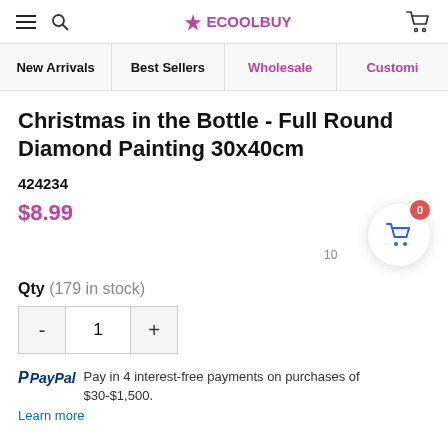ECOOLBUY
New Arrivals | Best Sellers | Wholesale | Customi…
Christmas in the Bottle - Full Round Diamond Painting 30x40cm
424234
$8.99
Qty (179 in stock)
- 1 +
PayPal Pay in 4 interest-free payments on purchases of $30-$1,500. Learn more